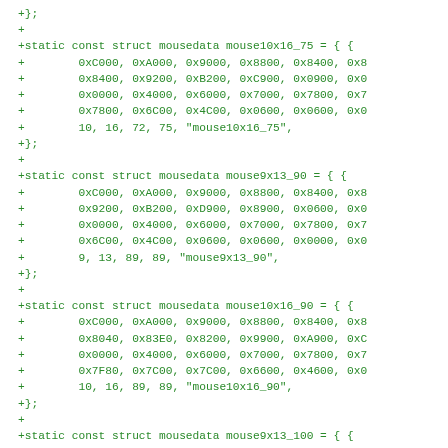+};
+
+static const struct mousedata mouse10x16_75 = { {
+        0xC000, 0xA000, 0x9000, 0x8800, 0x8400, 0x8
+        0x8400, 0x9200, 0xB200, 0xC900, 0x0900, 0x0
+        0x0000, 0x4000, 0x6000, 0x7000, 0x7800, 0x7
+        0x7800, 0x6C00, 0x4C00, 0x0600, 0x0600, 0x0
+        10, 16, 72, 75, "mouse10x16_75",
+};
+
+static const struct mousedata mouse9x13_90 = { {
+        0xC000, 0xA000, 0x9000, 0x8800, 0x8400, 0x8
+        0x9200, 0xB200, 0xD900, 0x8900, 0x0600, 0x0
+        0x0000, 0x4000, 0x6000, 0x7000, 0x7800, 0x7
+        0x6C00, 0x4C00, 0x0600, 0x0600, 0x0000, 0x0
+        9, 13, 89, 89, "mouse9x13_90",
+};
+
+static const struct mousedata mouse10x16_90 = { {
+        0xC000, 0xA000, 0x9000, 0x8800, 0x8400, 0x8
+        0x8040, 0x83E0, 0x8200, 0x9900, 0xA900, 0xC
+        0x0000, 0x4000, 0x6000, 0x7000, 0x7800, 0x7
+        0x7F80, 0x7C00, 0x7C00, 0x6600, 0x4600, 0x0
+        10, 16, 89, 89, "mouse10x16_90",
+};
+
+static const struct mousedata mouse9x13_100 = { {
+        0xC000, 0xA000, 0x9000, 0x8800, 0x8400, 0x8
+        0xB200, 0xD200, 0x8900, 0x0900, 0x0600, 0x0
+        0x0000, 0x4000, 0x6000, 0x7000, 0x7800, 0x7